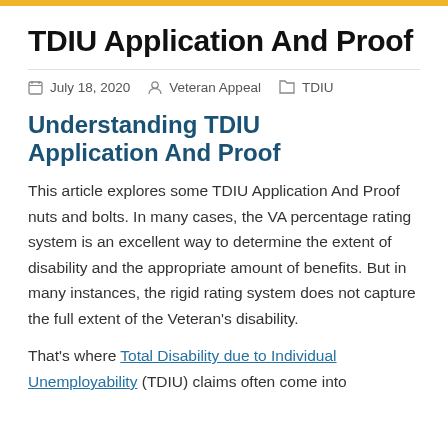TDIU Application And Proof
July 18, 2020   Veteran Appeal   TDIU
Understanding TDIU Application And Proof
This article explores some TDIU Application And Proof nuts and bolts. In many cases, the VA percentage rating system is an excellent way to determine the extent of disability and the appropriate amount of benefits. But in many instances, the rigid rating system does not capture the full extent of the Veteran's disability.
That's where Total Disability due to Individual Unemployability (TDIU) claims often come into